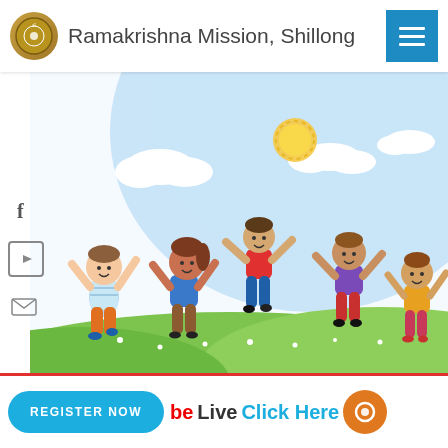Ramakrishna Mission, Shillong
[Figure (illustration): Cartoon illustration of five happy children jumping on a green grassy hill under a blue sky with clouds and a bright sun]
REGISTER NOW  be Live  Click Here